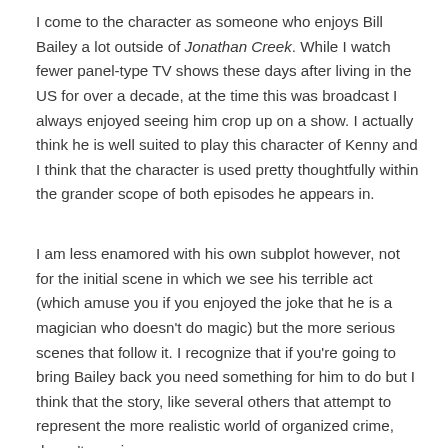I come to the character as someone who enjoys Bill Bailey a lot outside of Jonathan Creek. While I watch fewer panel-type TV shows these days after living in the US for over a decade, at the time this was broadcast I always enjoyed seeing him crop up on a show. I actually think he is well suited to play this character of Kenny and I think that the character is used pretty thoughtfully within the grander scope of both episodes he appears in.
I am less enamored with his own subplot however, not for the initial scene in which we see his terrible act (which amuse you if you enjoyed the joke that he is a magician who doesn't do magic) but the more serious scenes that follow it. I recognize that if you're going to bring Bailey back you need something for him to do but I think that the story, like several others that attempt to represent the more realistic world of organized crime, doesn't convince.